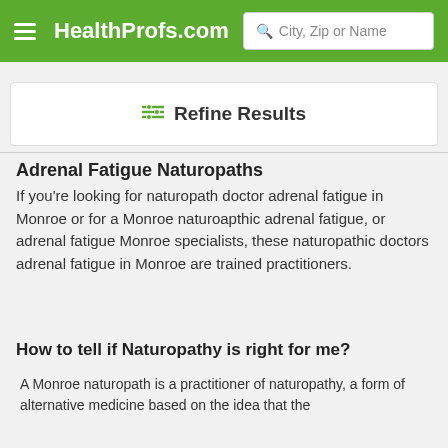HealthProfs.com | City, Zip or Name
Refine Results
Adrenal Fatigue Naturopaths
If you're looking for naturopath doctor adrenal fatigue in Monroe or for a Monroe naturoapthic adrenal fatigue, or adrenal fatigue Monroe specialists, these naturopathic doctors adrenal fatigue in Monroe are trained practitioners.
How to tell if Naturopathy is right for me?
A Monroe naturopath is a practitioner of naturopathy, a form of alternative medicine based on the idea that the